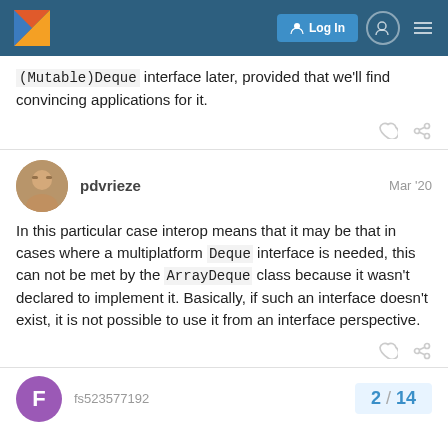Kotlin discuss forum header with Log In button
(Mutable)Deque interface later, provided that we'll find convincing applications for it.
pdvrieze Mar '20
In this particular case interop means that it may be that in cases where a multiplatform Deque interface is needed, this can not be met by the ArrayDeque class because it wasn't declared to implement it. Basically, if such an interface doesn't exist, it is not possible to use it from an interface perspective.
fs523577192
2 / 14